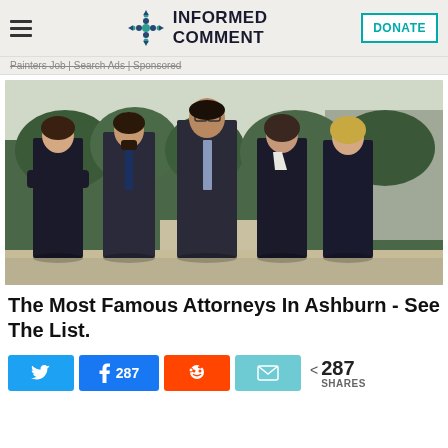INFORMED COMMENT
Painters Job | Search Ads | Sponsored
[Figure (photo): Five attorneys in formal business attire standing outdoors in a garden/courtyard setting. Three men and two women, all wearing dark suits or formal clothing.]
The Most Famous Attorneys In Ashburn - See The List.
287 SHARES (Twitter, Facebook 287, Reddit, Email share buttons)